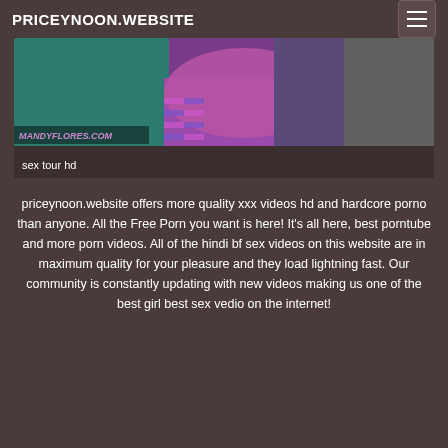PRICEYNOON.WEBSITE
[Figure (photo): Video thumbnail showing person with colorful striped leggings, with MANDYFLORES.COM watermark]
sex tour hd
priceynoon.website offers more quality xxx videos hd and hardcore porno than anyone. All the Free Porn you want is here! It's all here, best porntube and more porn videos. All of the hindi bf sex videos on this website are in maximum quality for your pleasure and they load lightning fast. Our community is constantly updating with new videos making us one of the best girl best sex vedio on the internet!